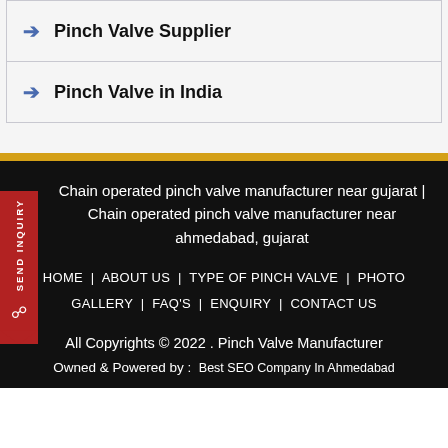Pinch Valve Supplier
Pinch Valve in India
Chain operated pinch valve manufacturer near gujarat | Chain operated pinch valve manufacturer near ahmedabad, gujarat
HOME  |  ABOUT US  |  TYPE OF PINCH VALVE  |  PHOTO GALLERY  |  FAQ'S  |  ENQUIRY  |  CONTACT US
All Copyrights © 2022 . Pinch Valve Manufacturer
Owned & Powered by :  Best SEO Company In Ahmedabad